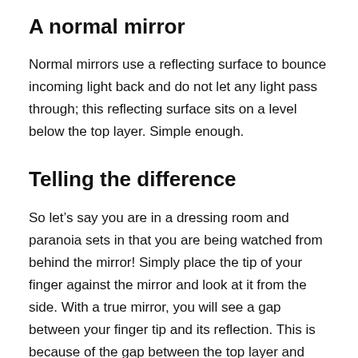A normal mirror
Normal mirrors use a reflecting surface to bounce incoming light back and do not let any light pass through; this reflecting surface sits on a level below the top layer. Simple enough.
Telling the difference
So let’s say you are in a dressing room and paranoia sets in that you are being watched from behind the mirror! Simply place the tip of your finger against the mirror and look at it from the side. With a true mirror, you will see a gap between your finger tip and its reflection. This is because of the gap between the top layer and reflecting layer in the mirror itself. However, if the tip of your finger is touching its reflection then